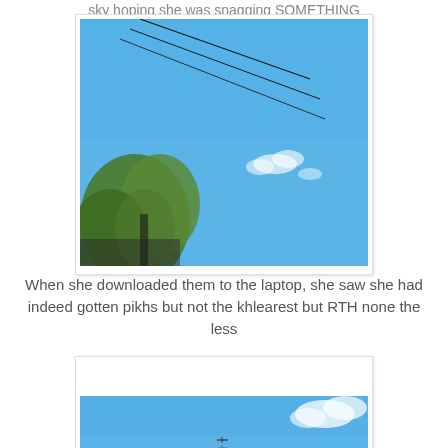sky hoping she was snagging SOMETHING
[Figure (photo): Photo of blue sky with power lines and tree foliage visible in lower left corner, small white clouds in the distance]
When she downloaded them to the laptop, she saw she had indeed gotten pikhs but not the khlearest but RTH none the less
[Figure (photo): Photo of blue sky with small distant object (possibly a bird or plane) visible near center, white clouds in upper right corner]